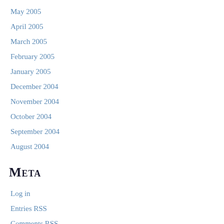May 2005
April 2005
March 2005
February 2005
January 2005
December 2004
November 2004
October 2004
September 2004
August 2004
Meta
Log in
Entries RSS
Comments RSS